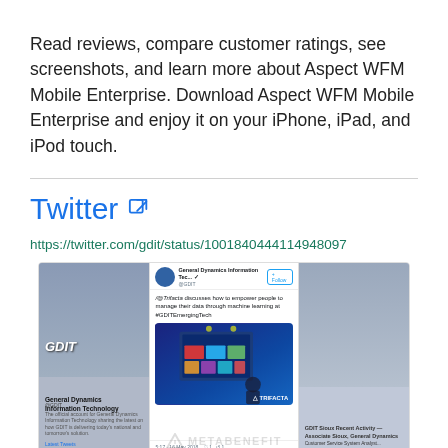Read reviews, compare customer ratings, see screenshots, and learn more about Aspect WFM Mobile Enterprise. Download Aspect WFM Mobile Enterprise and enjoy it on your iPhone, iPad, and iPod touch.
Twitter
https://twitter.com/gdit/status/1001840444114948097
[Figure (screenshot): Screenshot of a Twitter post by General Dynamics Information Technology (GDIT) showing a tweet about @Trifacta discussing how to empower people to manage their data through machine learning at #GDITEmergingTech, with a photo of a presenter at a conference with Trifacta branding. A METABENEFIT watermark appears at the bottom.]
Twitter Log in Sign up You are on Twitter Mobile because